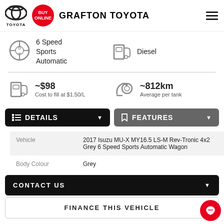GRAFTON TOYOTA
6 Speed Sports Automatic
Diesel
~$98
Cost to fill at $1.50/L
~812km
Average per tank
DETAILS
FEATURES
|  |  |
| --- | --- |
| Vehicle | 2017 Isuzu MU-X MY16.5 LS-M Rev-Tronic 4x2 Grey 6 Speed Sports Automatic Wagon |
| Body Colour | Grey |
CONTACT US
FINANCE THIS VEHICLE